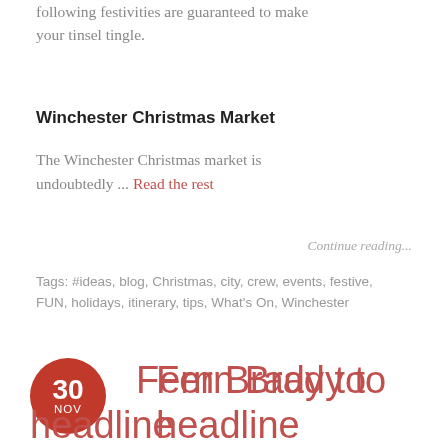following festivities are guaranteed to make your tinsel tingle.
Winchester Christmas Market
The Winchester Christmas market is undoubtedly ... Read the rest
Continue reading...
Tags: #ideas, blog, Christmas, city, crew, events, festive, FUN, holidays, itinerary, tips, What's On, Winchester
Fern Brady to headline the final Laughter Lounge of the semester